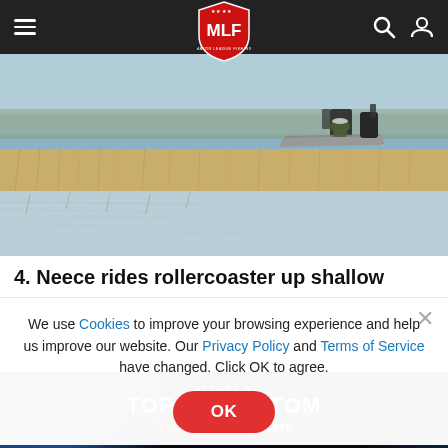MLF Major League Fishing navigation bar
[Figure (photo): A fishing boat on a lake with marsh grass and reeds in the foreground, water reflecting a grey-blue sky]
4. Neece rides rollercoaster up shallow
We use Cookies to improve your browsing experience and help us improve our website. Our Privacy Policy and Terms of Service have changed. Click OK to agree.
[Figure (screenshot): Advertisement banner reading ALL-NEW TOP TO BOTTOM with Bass Cat and Puma STS logos on dark background]